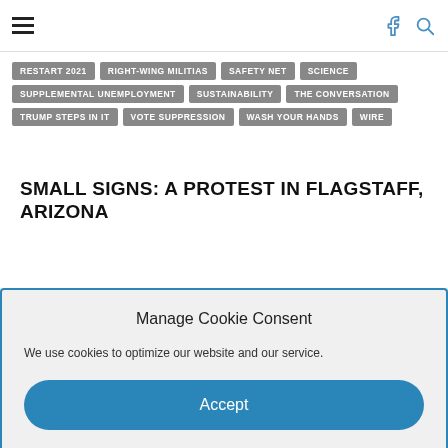Navigation bar with hamburger menu, Facebook icon, and search icon
RESTART 2021
RIGHT-WING MILITIAS
SAFETY NET
SCIENCE
SUPPLEMENTAL UNEMPLOYMENT
SUSTAINABILITY
THE CONVERSATION
TRUMP STEPS IN IT
VOTE SUPPRESSION
WASH YOUR HANDS
WIRE
SMALL SIGNS: A PROTEST IN FLAGSTAFF, ARIZONA
Manage Cookie Consent
We use cookies to optimize our website and our service.
Accept